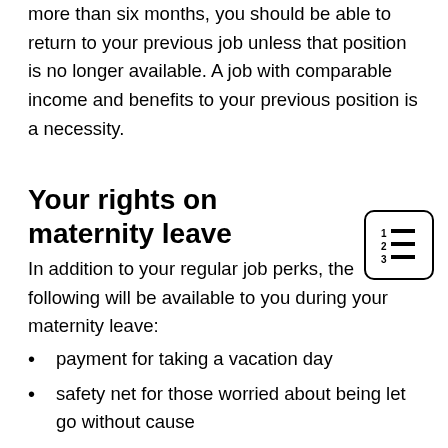more than six months, you should be able to return to your previous job unless that position is no longer available. A job with comparable income and benefits to your previous position is a necessity.
Your rights on maternity leave
In addition to your regular job perks, the following will be available to you during your maternity leave:
payment for taking a vacation day
safety net for those worried about being let go without cause
You are eligible for pension payments and